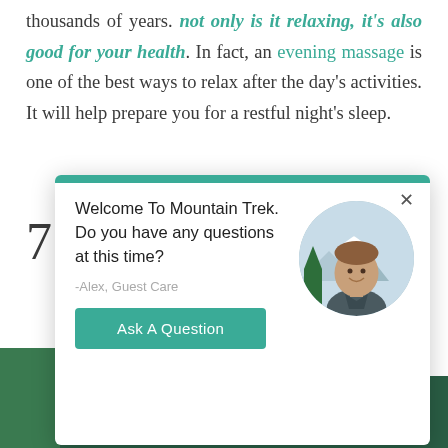thousands of years. not only is it relaxing, it's also good for your health. In fact, an evening massage is one of the best ways to relax after the day's activities. It will help prepare you for a restful night's sleep.
[Figure (screenshot): A website chat popup/modal from Mountain Trek with a teal top bar, an X close button, text 'Welcome To Mountain Trek. Do you have any questions at this time?' signed '-Alex, Guest Care', an 'Ask A Question' teal button, and a circular photo of a smiling young man outdoors with mountains and trees.]
FUN WITH A FRIEND